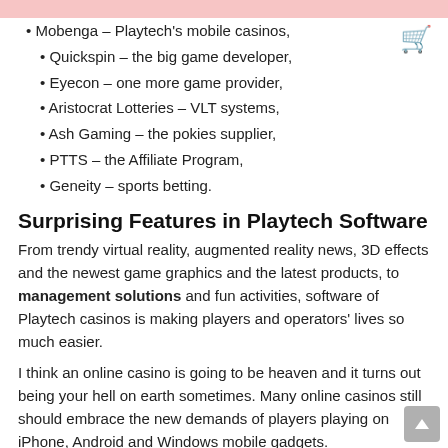Mobenga – Playtech's mobile casinos,
Quickspin – the big game developer,
Eyecon – one more game provider,
Aristocrat Lotteries – VLT systems,
Ash Gaming – the pokies supplier,
PTTS – the Affiliate Program,
Geneity – sports betting.
Surprising Features in Playtech Software
From trendy virtual reality, augmented reality news, 3D effects and the newest game graphics and the latest products, to management solutions and fun activities, software of Playtech casinos is making players and operators' lives so much easier.
I think an online casino is going to be heaven and it turns out being your hell on earth sometimes. Many online casinos still should embrace the new demands of players playing on iPhone, Android and Windows mobile gadgets.